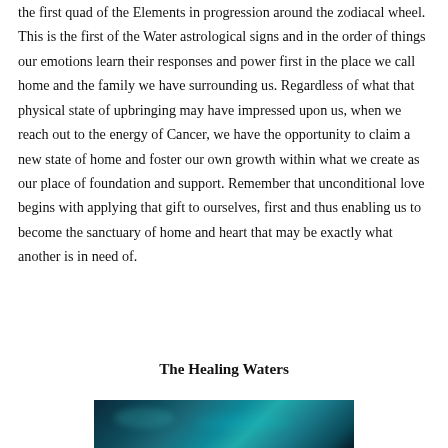the first quad of the Elements in progression around the zodiacal wheel. This is the first of the Water astrological signs and in the order of things our emotions learn their responses and power first in the place we call home and the family we have surrounding us. Regardless of what that physical state of upbringing may have impressed upon us, when we reach out to the energy of Cancer, we have the opportunity to claim a new state of home and foster our own growth within what we create as our place of foundation and support. Remember that unconditional love begins with applying that gift to ourselves, first and thus enabling us to become the sanctuary of home and heart that may be exactly what another is in need of.
The Healing Waters
[Figure (photo): Dark blue and teal water scene, appearing to show light reflecting off deep water with aquatic hues of blue, teal, and dark navy.]